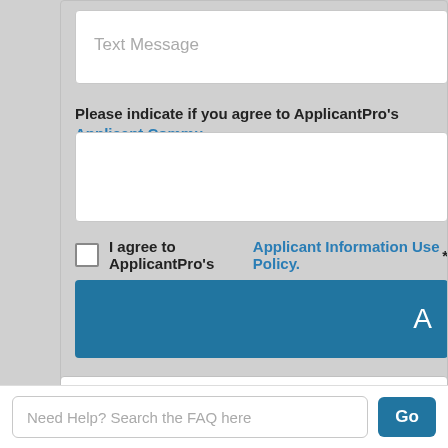Text Message
Please indicate if you agree to ApplicantPro's Applicant Commu...
I agree to ApplicantPro's Applicant Information Use Policy.*
A
Sign
Need Help? Search the FAQ here
Go